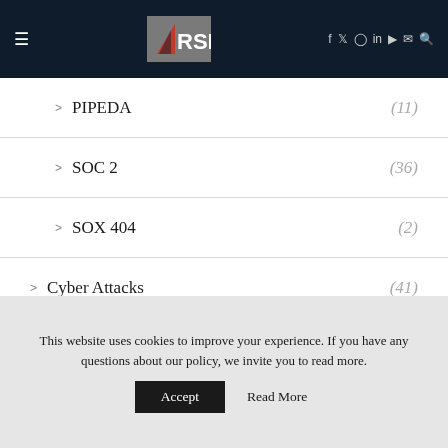RSI — navigation header with social icons
PIPEDA (11)
SOC 2 (36)
SOX 404 (2)
Cyber Attacks (41)
eCommerce (7)
Cybersecurity Solutions (545)
This website uses cookies to improve your experience. If you have any questions about our policy, we invite you to read more.